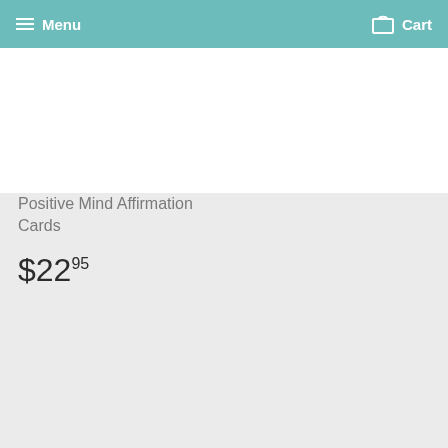Menu  Cart
Positive Mind Affirmation Cards
$22.95